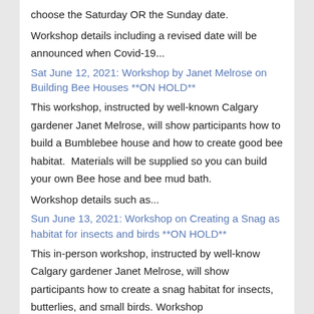choose the Saturday OR the Sunday date.
Workshop details including a revised date will be announced when Covid-19...
Sat June 12, 2021: Workshop by Janet Melrose on Building Bee Houses **ON HOLD**
This workshop, instructed by well-known Calgary gardener Janet Melrose, will show participants how to build a Bumblebee house and how to create good bee habitat.  Materials will be supplied so you can build your own Bee hose and bee mud bath.
Workshop details such as...
Sun June 13, 2021: Workshop on Creating a Snag as habitat for insects and birds **ON HOLD**
This in-person workshop, instructed by well-know Calgary gardener Janet Melrose, will show participants how to create a snag habitat for insects, butterlies, and small birds. Workshop